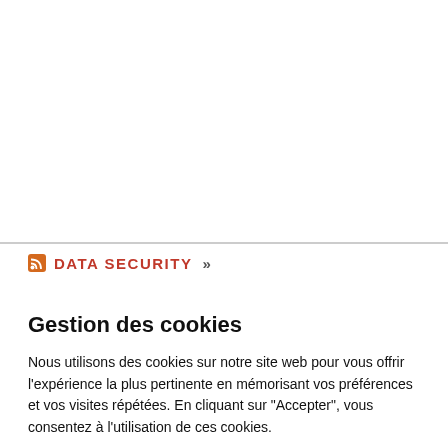DATA SECURITY »
Gestion des cookies
Nous utilisons des cookies sur notre site web pour vous offrir l'expérience la plus pertinente en mémorisant vos préférences et vos visites répétées. En cliquant sur "Accepter", vous consentez à l'utilisation de ces cookies.
Cookie settings | ACCEPTER